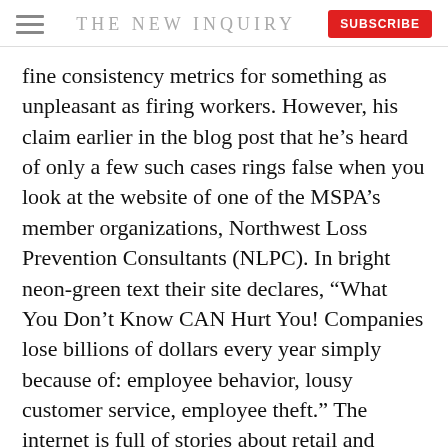THE NEW INQUIRY
fine consistency metrics for something as unpleasant as firing workers. However, his claim earlier in the blog post that he’s heard of only a few such cases rings false when you look at the website of one of the MSPA’s member organizations, Northwest Loss Prevention Consultants (NLPC). In bright neon-green text their site declares, “What You Don’t Know CAN Hurt You! Companies lose billions of dollars every year simply because of: employee behavior, lousy customer service, employee theft.” The internet is full of stories about retail and restaurant chains with a policy like Applebee’s, where two bad mystery shops will get you fired. And when NLPC offers to “run